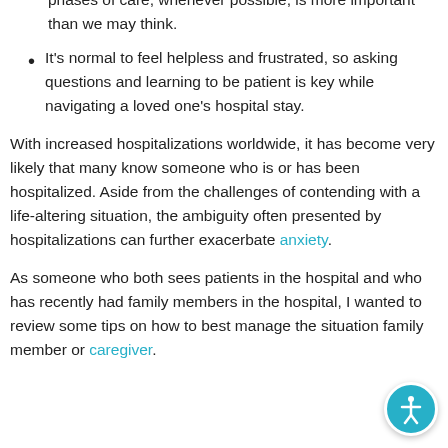Being there to support your loved ones during the various phases of care, whenever possible, is more important than we may think.
It's normal to feel helpless and frustrated, so asking questions and learning to be patient is key while navigating a loved one's hospital stay.
With increased hospitalizations worldwide, it has become very likely that many know someone who is or has been hospitalized. Aside from the challenges of contending with a life-altering situation, the ambiguity often presented by hospitalizations can further exacerbate anxiety.
As someone who both sees patients in the hospital and who has recently had family members in the hospital, I wanted to review some tips on how to best manage the situation family member or caregiver.